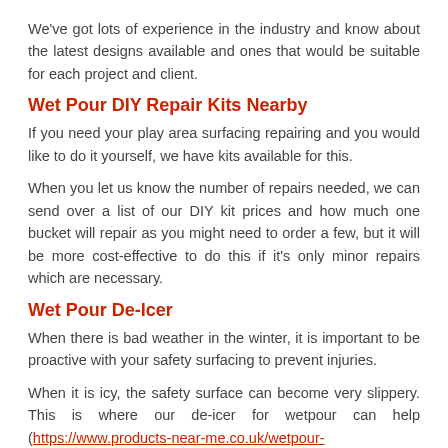We've got lots of experience in the industry and know about the latest designs available and ones that would be suitable for each project and client.
Wet Pour DIY Repair Kits Nearby
If you need your play area surfacing repairing and you would like to do it yourself, we have kits available for this.
When you let us know the number of repairs needed, we can send over a list of our DIY kit prices and how much one bucket will repair as you might need to order a few, but it will be more cost-effective to do this if it's only minor repairs which are necessary.
Wet Pour De-Icer
When there is bad weather in the winter, it is important to be proactive with your safety surfacing to prevent injuries.
When it is icy, the safety surface can become very slippery. This is where our de-icer for wetpour can help (https://www.products-near-me.co.uk/wetpour-deicer/suffolk/bacton-green/). Again, the amount you need will require how big the surface is and how often you will